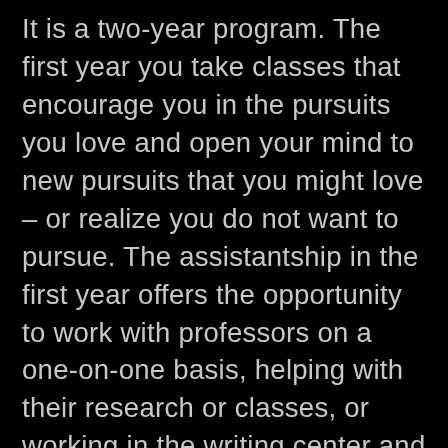It is a two-year program. The first year you take classes that encourage you in the pursuits you love and open your mind to new pursuits that you might love – or realize you do not want to pursue. The assistantship in the first year offers the opportunity to work with professors on a one-on-one basis, helping with their research or classes, or working in the writing center and getting to hone your skills of teaching students in all types of writing. The second-year narrows your focus onto the topic of your thesis – creative or theory for us MAE people. You also have the opportunity to teach two